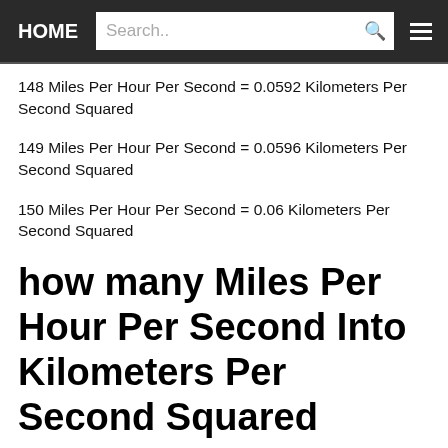HOME | Search..
148 Miles Per Hour Per Second = 0.0592 Kilometers Per Second Squared
149 Miles Per Hour Per Second = 0.0596 Kilometers Per Second Squared
150 Miles Per Hour Per Second = 0.06 Kilometers Per Second Squared
how many Miles Per Hour Per Second Into Kilometers Per Second Squared
Convert Miles Per Hour Per Second Kilometers Per Second Squared